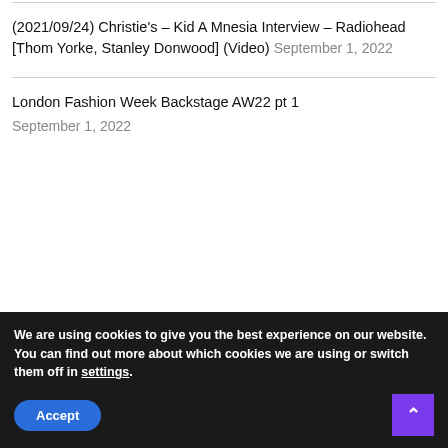(2021/09/24) Christie's – Kid A Mnesia Interview – Radiohead [Thom Yorke, Stanley Donwood] (Video) September 1, 2022
London Fashion Week Backstage AW22 pt 1 September 1, 2022
We are using cookies to give you the best experience on our website.
You can find out more about which cookies we are using or switch them off in settings.